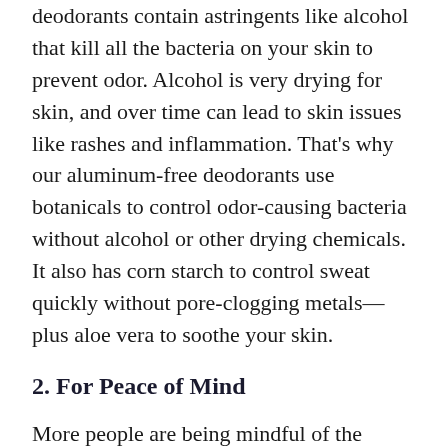deodorants contain astringents like alcohol that kill all the bacteria on your skin to prevent odor. Alcohol is very drying for skin, and over time can lead to skin issues like rashes and inflammation. That's why our aluminum-free deodorants use botanicals to control odor-causing bacteria without alcohol or other drying chemicals. It also has corn starch to control sweat quickly without pore-clogging metals—plus aloe vera to soothe your skin.
2. For Peace of Mind
More people are being mindful of the ingredients that go into their everyday products like deodorants. Although the